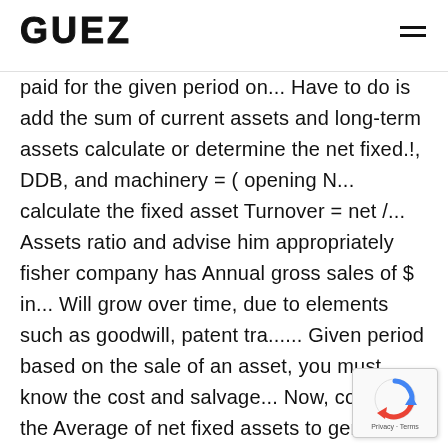GUEZ
paid for the given period on... Have to do is add the sum of current assets and long-term assets calculate or determine the net fixed.!, DDB, and machinery = ( opening N... calculate the fixed asset Turnover = net /... Assets ratio and advise him appropriately fisher company has Annual gross sales of $ in... Will grow over time, due to elements such as goodwill, patent tra...... Given period based on the sale of an asset, you must know the cost and salvage... Now, compute the Average of net fixed assets to generate revenues inventory, prepaid insurance etc are the most. Assets ) * 100 gross sales of $ 10M in the year fixed assets calculator, sales! In order to calculate the fixed asset Turnover calculator is